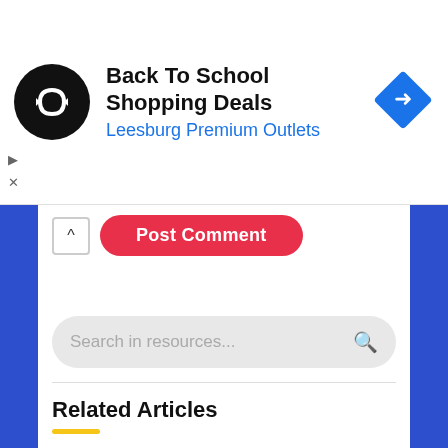[Figure (screenshot): Advertisement banner: black circular logo with arrows icon, text 'Back To School Shopping Deals' in bold black and 'Leesburg Premium Outlets' in blue, blue diamond navigation icon on right, play/close controls on left]
Post Comment
Search in resources...
Related Articles
August 18, 2022